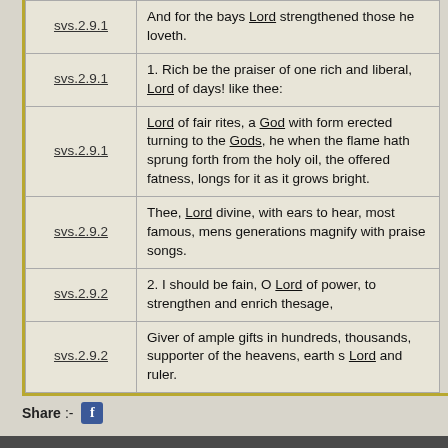| Reference | Text |
| --- | --- |
| svs.2.9.1 | And for the bays Lord strengthened those he loveth. |
| svs.2.9.1 | 1. Rich be the praiser of one rich and liberal, Lord of days! like thee: |
| svs.2.9.1 | Lord of fair rites, a God with form erected turning to the Gods, he when the flame hath sprung forth from the holy oil, the offered fatness, longs for it as it grows bright. |
| svs.2.9.2 | Thee, Lord divine, with ears to hear, most famous, mens generations magnify with praise songs. |
| svs.2.9.2 | 2. I should be fain, O Lord of power, to strengthen and enrich thesage, |
| svs.2.9.2 | Giver of ample gifts in hundreds, thousands, supporter of the heavens, earth s Lord and ruler. |
Share:-
Powered Help | Terms of Service | Privacy | Report a bug | Flag as objectionable by Wikidot.com
Unless otherwise stated, the content of this page is licensed under Creative Commons Attribution-ShareAlike 3.0 License